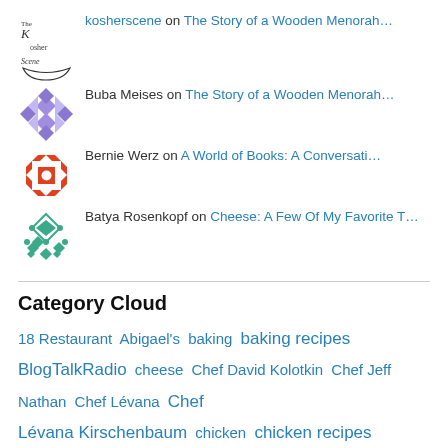kosherscene on The Story of a Wooden Menorah…
Buba Meises on The Story of a Wooden Menorah…
Bernie Werz on A World of Books: A Conversati…
Batya Rosenkopf on Cheese: A Few Of My Favorite T…
Category Cloud
18 Restaurant  Abigael's  baking  baking recipes  BlogTalkRadio  cheese  Chef David Kolotkin  Chef Jeff Nathan  Chef Lévana  Chef Lévana Kirschenbaum  chicken  chicken recipes  cookbook authors  cookbooks  dairy cuisine  dairy recipes  Esti Berkowitz  fine dining  fine kosher dining  fine kosher dining in Manhattan  fine